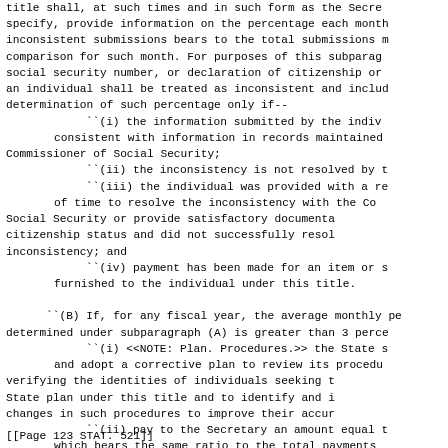title shall, at such times and in such form as the Secretary specify, provide information on the percentage each month inconsistent submissions bears to the total submissions made for comparison for such month. For purposes of this subparagraph, a social security number, or declaration of citizenship or alienage of an individual shall be treated as inconsistent and included in the determination of such percentage only if--
``(i) the information submitted by the individual is not consistent with information in records maintained by the Commissioner of Social Security;
``(ii) the inconsistency is not resolved by the agency;
``(iii) the individual was provided with a reasonable period of time to resolve the inconsistency with the Commissioner of Social Security or provide satisfactory documentation of citizenship status and did not successfully resolve such inconsistency; and
``(iv) payment has been made for an item or service furnished to the individual under this title.

``(B) If, for any fiscal year, the average monthly percentage determined under subparagraph (A) is greater than 3 percent--
``(i) <<NOTE: Plan. Procedures.>> the State shall develop and adopt a corrective plan to review its procedures for verifying the identities of individuals seeking benefits under the State plan under this title and to identify and implement changes in such procedures to improve their accuracy; and
``(ii) pay to the Secretary an amount equal to the amount which bears the same ratio to the total payments
[[Page 123 STAT. 521]]